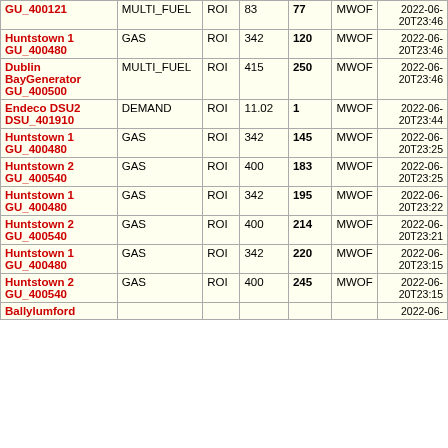| Unit | Fuel Type | Region | Capacity | Output | Unit | Timestamp |
| --- | --- | --- | --- | --- | --- | --- |
| [Station] / GU_400121 | MULTI_FUEL | ROI | 83 | 77 | MWOF | 2022-06-20T23:46 |
| Huntstown 1 / GU_400480 | GAS | ROI | 342 | 120 | MWOF | 2022-06-20T23:46 |
| Dublin BayGenerator / GU_400500 | MULTI_FUEL | ROI | 415 | 250 | MWOF | 2022-06-20T23:46 |
| Endeco DSU2 / DSU_401910 | DEMAND | ROI | 11.02 | 1 | MWOF | 2022-06-20T23:44 |
| Huntstown 1 / GU_400480 | GAS | ROI | 342 | 145 | MWOF | 2022-06-20T23:25 |
| Huntstown 2 / GU_400540 | GAS | ROI | 400 | 183 | MWOF | 2022-06-20T23:25 |
| Huntstown 1 / GU_400480 | GAS | ROI | 342 | 195 | MWOF | 2022-06-20T23:22 |
| Huntstown 2 / GU_400540 | GAS | ROI | 400 | 214 | MWOF | 2022-06-20T23:21 |
| Huntstown 1 / GU_400480 | GAS | ROI | 342 | 220 | MWOF | 2022-06-20T23:15 |
| Huntstown 2 / GU_400540 | GAS | ROI | 400 | 245 | MWOF | 2022-06-20T23:15 |
| Ballylumford |  |  |  |  |  | 2022-06 |